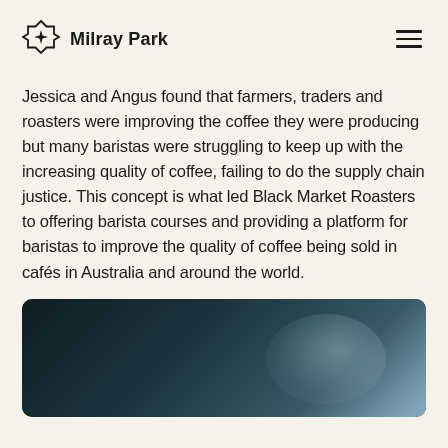Milray Park
Jessica and Angus found that farmers, traders and roasters were improving the coffee they were producing but many baristas were struggling to keep up with the increasing quality of coffee, failing to do the supply chain justice. This concept is what led Black Market Roasters to offering barista courses and providing a platform for baristas to improve the quality of coffee being sold in cafés in Australia and around the world.
[Figure (photo): Close-up dark photo of what appears to be a cylindrical coffee-related object with a subtle reflective highlight, dark teal and navy tones.]